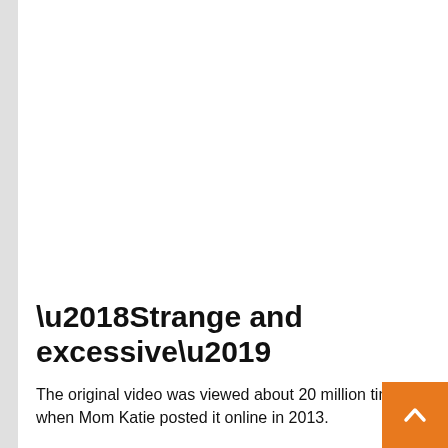‘Strange and excessive’
The original video was viewed about 20 million times when Mom Katie posted it online in 2013.